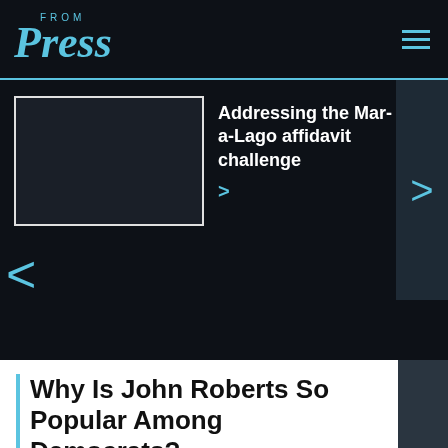Press FROM
[Figure (screenshot): News carousel showing article preview: Addressing the Mar-a-Lago affidavit challenge, with image placeholder and navigation arrows]
Why Is John Roberts So Popular Among Democrats?
23:39  31 december  2021
Earlier this month, Gallup gauged American sentiment toward 11 of the nation's most prominent public figures. Only one